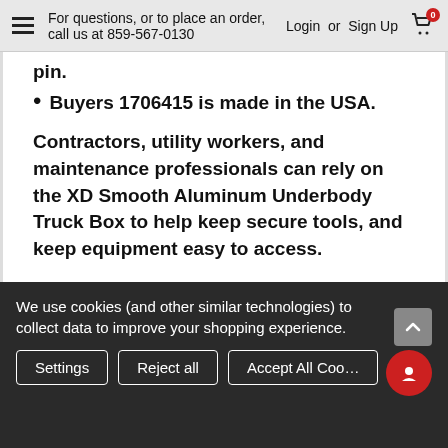For questions, or to place an order, call us at 859-567-0130  Login or Sign Up  0
pin.
Buyers 1706415 is made in the USA.
Contractors, utility workers, and maintenance professionals can rely on the XD Smooth Aluminum Underbody Truck Box to help keep secure tools, and keep equipment easy to access.
The rigid, extruded box frame and .125 in. thick smooth aluminum is looks great and provides reliable protection. A built-in rain gutter and automotive bulb seal work with the 3-point locking, die cast compression latch to keep out
We use cookies (and other similar technologies) to collect data to improve your shopping experience.
Settings  Reject all  Accept All Cookies